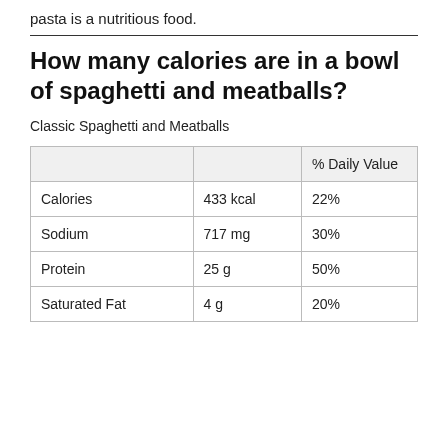pasta is a nutritious food.
How many calories are in a bowl of spaghetti and meatballs?
Classic Spaghetti and Meatballs
|  |  | % Daily Value |
| --- | --- | --- |
| Calories | 433 kcal | 22% |
| Sodium | 717 mg | 30% |
| Protein | 25 g | 50% |
| Saturated Fat | 4 g | 20% |